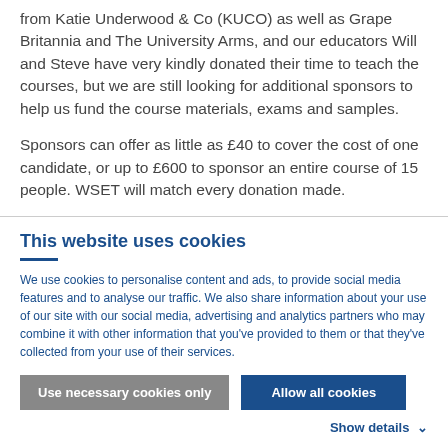from Katie Underwood & Co (KUCO) as well as Grape Britannia and The University Arms, and our educators Will and Steve have very kindly donated their time to teach the courses, but we are still looking for additional sponsors to help us fund the course materials, exams and samples.
Sponsors can offer as little as £40 to cover the cost of one candidate, or up to £600 to sponsor an entire course of 15 people. WSET will match every donation made.
This website uses cookies
We use cookies to personalise content and ads, to provide social media features and to analyse our traffic. We also share information about your use of our site with our social media, advertising and analytics partners who may combine it with other information that you've provided to them or that they've collected from your use of their services.
Use necessary cookies only
Allow all cookies
Show details